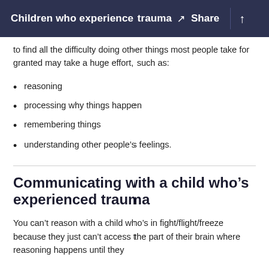Children who experience trauma  ↗  Share  ↑
to find all the difficulty doing other things most people take for granted may take a huge effort, such as:
reasoning
processing why things happen
remembering things
understanding other people's feelings.
Communicating with a child who's experienced trauma
You can't reason with a child who's in fight/flight/freeze because they just can't access the part of their brain where reasoning happens until they